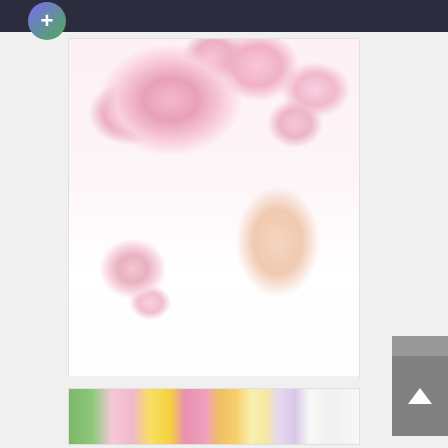[Figure (photo): Beauty/fashion photo of a woman with closed eyes wearing pink and peach orchid flowers on her head, with scattered orchid blooms around her face against a white background]
[Figure (photo): Row of colorful orchid flowers in various colors including green, pink, yellow, purple, and white, shown in a horizontal strip]